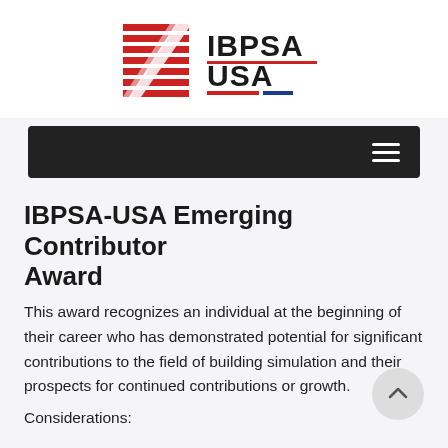[Figure (logo): IBPSA-USA logo with red striped graphic on left and IBPSA USA text with red and blue underlines on right]
[Figure (screenshot): Dark navigation bar with hamburger menu icon on the right]
IBPSA-USA Emerging Contributor Award
This award recognizes an individual at the beginning of their career who has demonstrated potential for significant contributions to the field of building simulation and their prospects for continued contributions or growth.
Considerations: